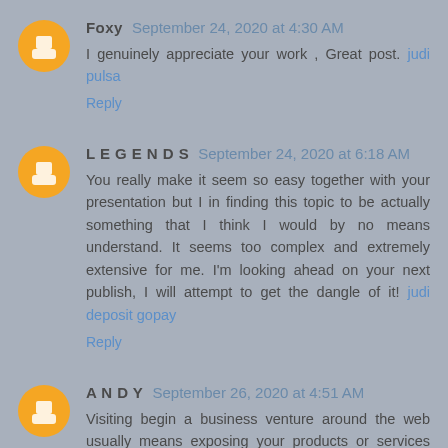Foxy September 24, 2020 at 4:30 AM
I genuinely appreciate your work , Great post. judi pulsa
Reply
L E G E N D S September 24, 2020 at 6:18 AM
You really make it seem so easy together with your presentation but I in finding this topic to be actually something that I think I would by no means understand. It seems too complex and extremely extensive for me. I'm looking ahead on your next publish, I will attempt to get the dangle of it! judi deposit gopay
Reply
A N D Y September 26, 2020 at 4:51 AM
Visiting begin a business venture around the web usually means exposing your products or services moreover